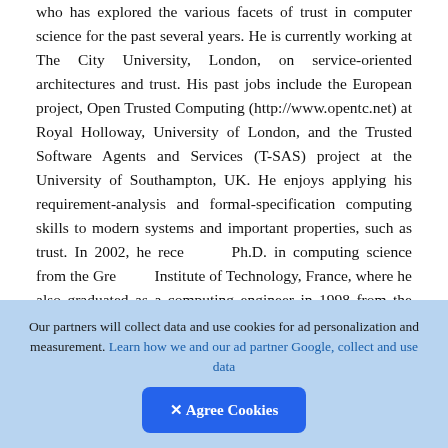who has explored the various facets of trust in computer science for the past several years. He is currently working at The City University, London, on service-oriented architectures and trust. His past jobs include the European project, Open Trusted Computing (http://www.opentc.net) at Royal Holloway, University of London, and the Trusted Software Agents and Services (T-SAS) project at the University of Southampton, UK. He enjoys applying his requirement-analysis and formal-specification computing skills to modern systems and important properties, such as trust. In 2002, he received a Ph.D. in computing science from the Grenoble Institute of Technology, France, where he also graduated as a computing engineer in 1998 from the ENSIMAG, Grandes École of Computing and
[Figure (other): Upload/share button icon — dark rounded square with a circle and upward arrow]
Our partners will collect data and use cookies for ad personalization and measurement. Learn how we and our ad partner Google, collect and use data
✕ Agree Cookies